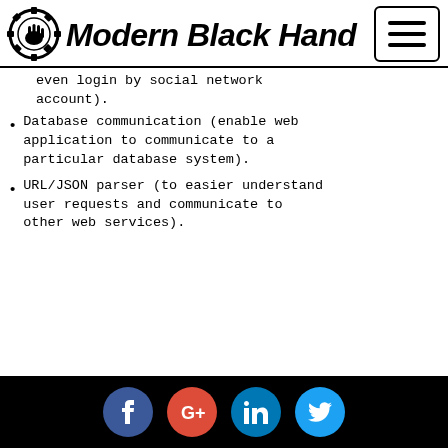Modern Black Hand
Modern Black Hand
even login by social network account).
Database communication (enable web application to communicate to a particular database system).
URL/JSON parser (to easier understand user requests and communicate to other web services).
Facebook, Google+, LinkedIn, Twitter social links